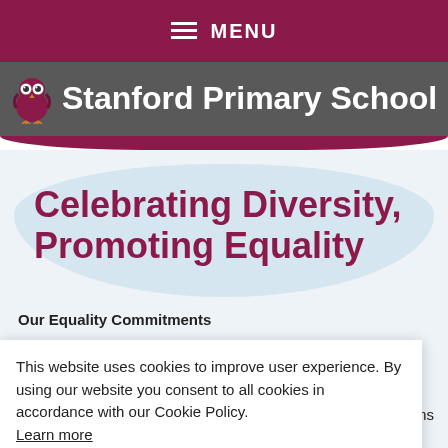MENU
Stanford Primary School
Celebrating Diversity, Promoting Equality
Our Equality Commitments
This website uses cookies to improve user experience. By using our website you consent to all cookies in accordance with our Cookie Policy. Learn more
DECLINE
ACCEPT
orms
all
nd
our
ed